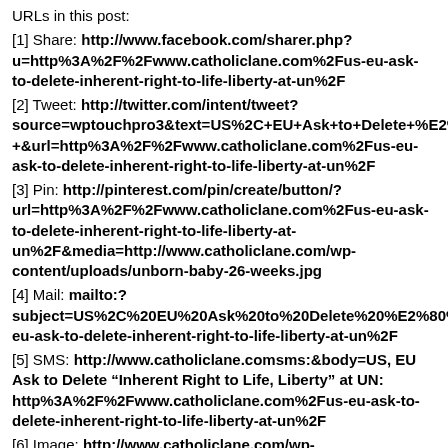URLs in this post:
[1] Share: http://www.facebook.com/sharer.php?u=http%3A%2F%2Fwww.catholiclane.com%2Fus-eu-ask-to-delete-inherent-right-to-life-liberty-at-un%2F
[2] Tweet: http://twitter.com/intent/tweet?source=wptouchpro3&text=US%2C+EU+Ask+to+Delete+%E2%80%9CInherent+Right+to+Life%2C+Liberty%E2%80%9D+at+UN+-+&url=http%3A%2F%2Fwww.catholiclane.com%2Fus-eu-ask-to-delete-inherent-right-to-life-liberty-at-un%2F
[3] Pin: http://pinterest.com/pin/create/button/?url=http%3A%2F%2Fwww.catholiclane.com%2Fus-eu-ask-to-delete-inherent-right-to-life-liberty-at-un%2F&media=http://www.catholiclane.com/wp-content/uploads/unborn-baby-26-weeks.jpg
[4] Mail: mailto:?subject=US%2C%20EU%20Ask%20to%20Delete%20%E2%80%9CInherent%20Right%20to%20Life%2C%20Liberty%E2%80%9D%20at%20UN&body=http%3A%2F%2Fwww.catholiclane.com%2Fus-eu-ask-to-delete-inherent-right-to-life-liberty-at-un%2F
[5] SMS: http://www.catholiclane.comsms:&body=US, EU Ask to Delete “Inherent Right to Life, Liberty” at UN: http%3A%2F%2Fwww.catholiclane.com%2Fus-eu-ask-to-delete-inherent-right-to-life-liberty-at-un%2F
[6] Image: http://www.catholiclane.com/wp-content/uploads/unborn-baby-26-weeks.jpg
[7] Super Bowl Sunday is the worst day of the year for domestic violence: http://www.snopes.com/crime/statistics/superbowl.asp